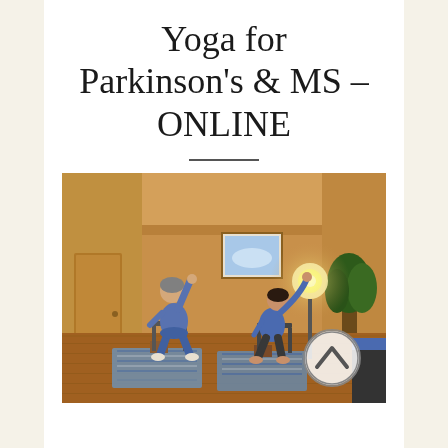Yoga for Parkinson's & MS – ONLINE
[Figure (photo): Two people seated on chairs performing a side-bend yoga pose in a warm-toned yoga studio with wooden floors, striped yoga mats, a painting on the wall, a floor lamp, and a plant in the background. A scroll-up navigation icon appears in the bottom right corner of the image.]